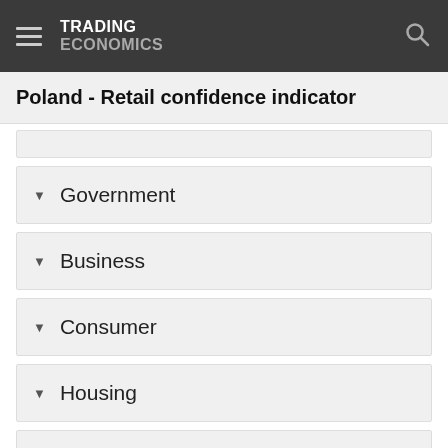TRADING ECONOMICS
Poland - Retail confidence indicator
Government
Business
Consumer
Housing
Taxes
Climate
More Indicators